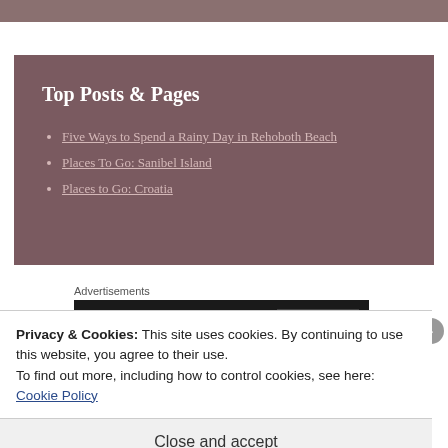[Figure (other): Top decorative mauve/gray bar at the top of the page]
Top Posts & Pages
Five Ways to Spend a Rainy Day in Rehoboth Beach
Places To Go: Sanibel Island
Places to Go: Croatia
Advertisements
[Figure (other): Advertisement banner with dark background, circular icon and black box on right]
Privacy & Cookies: This site uses cookies. By continuing to use this website, you agree to their use.
To find out more, including how to control cookies, see here: Cookie Policy
Close and accept